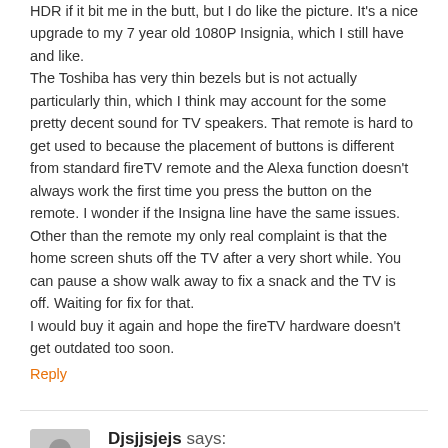HDR if it bit me in the butt, but I do like the picture. It's a nice upgrade to my 7 year old 1080P Insignia, which I still have and like.
The Toshiba has very thin bezels but is not actually particularly thin, which I think may account for the some pretty decent sound for TV speakers. That remote is hard to get used to because the placement of buttons is different from standard fireTV remote and the Alexa function doesn't always work the first time you press the button on the remote. I wonder if the Insigna line have the same issues. Other than the remote my only real complaint is that the home screen shuts off the TV after a very short while. You can pause a show walk away to fix a snack and the TV is off. Waiting for fix for that.
I would buy it again and hope the fireTV hardware doesn't get outdated too soon.
Reply
Djsjjsjejs says:
September 18, 2018 at 10:20 pm
Best Buy is stupid for inviting Amazon into the Den